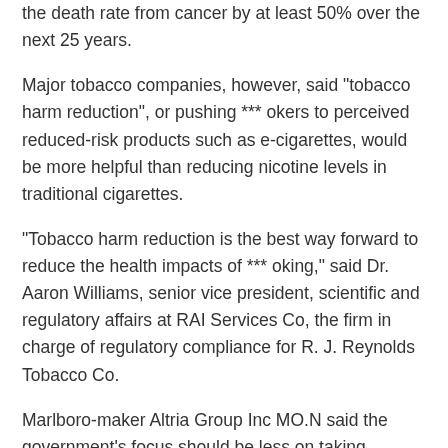the death rate from cancer by at least 50% over the next 25 years.
Major tobacco companies, however, said "tobacco harm reduction", or pushing *** okers to perceived reduced-risk products such as e-cigarettes, would be more helpful than reducing nicotine levels in traditional cigarettes.
"Tobacco harm reduction is the best way forward to reduce the health impacts of *** oking," said Dr. Aaron Williams, senior vice president, scientific and regulatory affairs at RAI Services Co, the firm in charge of regulatory compliance for R. J. Reynolds Tobacco Co.
Marlboro-maker Altria Group Inc MO.N said the government's focus should be less on taking products away from *** *** okers and "more on providing them... reduced harm FDA-authorized *** oke-free products".
Both Altria and British American Tobacco BATS.L, the parent